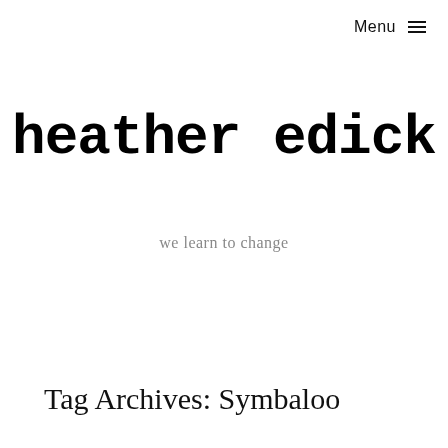Menu ☰
heather edick
we learn to change
Tag Archives: Symbaloo